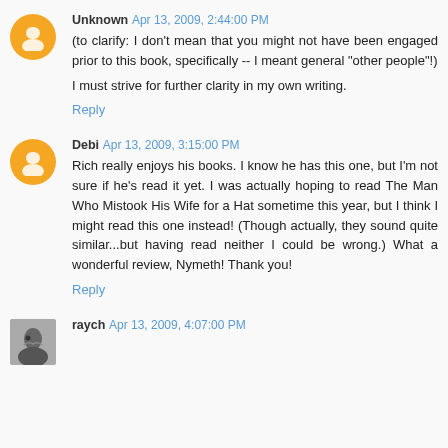Unknown Apr 13, 2009, 2:44:00 PM
(to clarify: I don't mean that you might not have been engaged prior to this book, specifically -- I meant general "other people"!)

I must strive for further clarity in my own writing.
Reply
Debi Apr 13, 2009, 3:15:00 PM
Rich really enjoys his books. I know he has this one, but I'm not sure if he's read it yet. I was actually hoping to read The Man Who Mistook His Wife for a Hat sometime this year, but I think I might read this one instead! (Though actually, they sound quite similar...but having read neither I could be wrong.) What a wonderful review, Nymeth! Thank you!
Reply
raych Apr 13, 2009, 4:07:00 PM